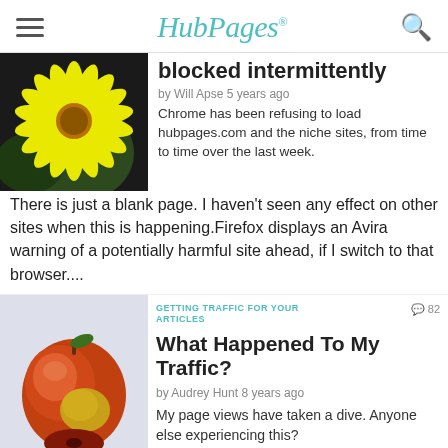HubPages
blocked intermittently
by Will Apse 5 years ago
Chrome has been refusing to load hubpages.com and the niche sites, from time to time over the last week. There is just a blank page. I haven't seen any effect on other sites when this is happening.Firefox displays an Avira warning of a potentially harmful site ahead, if I switch to that browser....
GETTING TRAFFIC FOR YOUR ARTICLES
What Happened To My Traffic?
by Audrey Hunt 8 years ago
My page views have taken a dive. Anyone else experiencing this?
GETTING TRAFFIC FOR YOUR ARTICLES